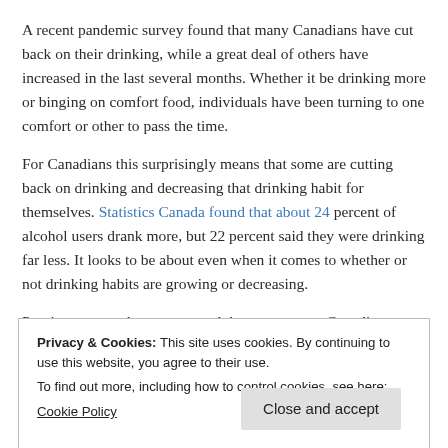A recent pandemic survey found that many Canadians have cut back on their drinking, while a great deal of others have increased in the last several months. Whether it be drinking more or binging on comfort food, individuals have been turning to one comfort or other to pass the time.
For Canadians this surprisingly means that some are cutting back on drinking and decreasing that drinking habit for themselves. Statistics Canada found that about 24 percent of alcohol users drank more, but 22 percent said they were drinking far less. It looks to be about even when it comes to whether or not drinking habits are growing or decreasing.
Previous reports have suggested that many more Canadians might be drinking more, particularly those who drank...
Privacy & Cookies: This site uses cookies. By continuing to use this website, you agree to their use.
To find out more, including how to control cookies, see here:
Cookie Policy
Close and accept